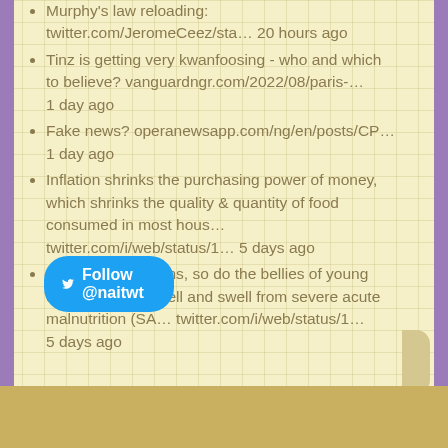Murphy's law reloading: twitter.com/JeromeCeez/sta… 20 hours ago
Tinz is getting very kwanfoosing - who and which to believe? vanguardngr.com/2022/08/paris-… 1 day ago
Fake news? operanewsapp.com/ng/en/posts/CP… 1 day ago
Inflation shrinks the purchasing power of money, which shrinks the quality & quantity of food consumed in most hous… twitter.com/i/web/status/1… 5 days ago
As inflation balloons, so do the bellies of young children which swell and swell from severe acute malnutrition (SA… twitter.com/i/web/status/1… 5 days ago
Follow @naitwt